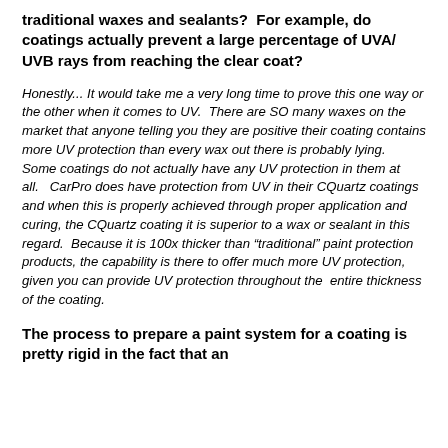traditional waxes and sealants?  For example, do coatings actually prevent a large percentage of UVA/ UVB rays from reaching the clear coat?
Honestly... It would take me a very long time to prove this one way or the other when it comes to UV.  There are SO many waxes on the market that anyone telling you they are positive their coating contains more UV protection than every wax out there is probably lying.  Some coatings do not actually have any UV protection in them at all.   CarPro does have protection from UV in their CQuartz coatings and when this is properly achieved through proper application and curing, the CQuartz coating it is superior to a wax or sealant in this regard.  Because it is 100x thicker than “traditional” paint protection products, the capability is there to offer much more UV protection, given you can provide UV protection throughout the  entire thickness of the coating.
The process to prepare a paint system for a coating is pretty rigid in the fact that an